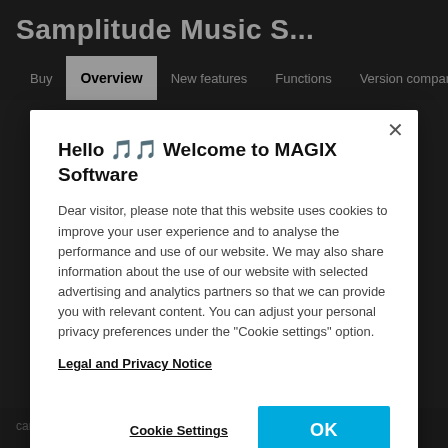Samplitude Music S...
Buy  Overview  New features  Functions  Version comparis >
Hello 🎵 Welcome to MAGIX Software
Dear visitor, please note that this website uses cookies to improve your user experience and to analyse the performance and use of our website. We may also share information about the use of our website with selected advertising and analytics partners so that we can provide you with relevant content. You can adjust your personal privacy preferences under the "Cookie settings" option.
Legal and Privacy Notice
Cookie Settings
OK
can drag & drop your plug-ins from the plug-in browser into project.